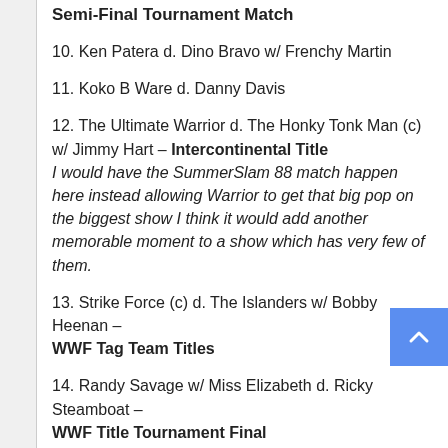Semi-Final Tournament Match
10. Ken Patera d. Dino Bravo w/ Frenchy Martin
11. Koko B Ware d. Danny Davis
12. The Ultimate Warrior d. The Honky Tonk Man (c) w/ Jimmy Hart – Intercontinental Title
I would have the SummerSlam 88 match happen here instead allowing Warrior to get that big pop on the biggest show I think it would add another memorable moment to a show which has very few of them.
13. Strike Force (c) d. The Islanders w/ Bobby Heenan – WWF Tag Team Titles
14. Randy Savage w/ Miss Elizabeth d. Ricky Steamboat – WWF Title Tournament Final
They would have their WrestleMania III classic here. Also Hogan wouldn't come out and steal Savage's spotlight,